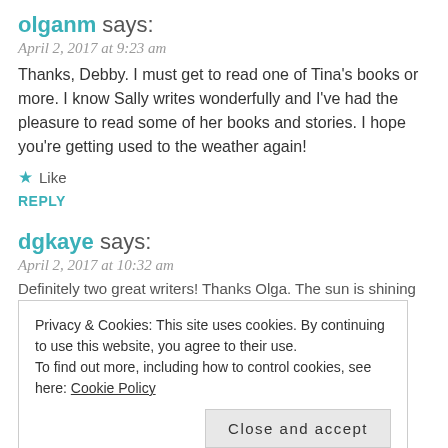olganm says:
April 2, 2017 at 9:23 am
Thanks, Debby. I must get to read one of Tina's books or more. I know Sally writes wonderfully and I've had the pleasure to read some of her books and stories. I hope you're getting used to the weather again!
★ Like
REPLY
dgkaye says:
April 2, 2017 at 10:32 am
Definitely two great writers! Thanks Olga. The sun is shining
Privacy & Cookies: This site uses cookies. By continuing to use this website, you agree to their use. To find out more, including how to control cookies, see here: Cookie Policy
Close and accept
shehannemoore says: